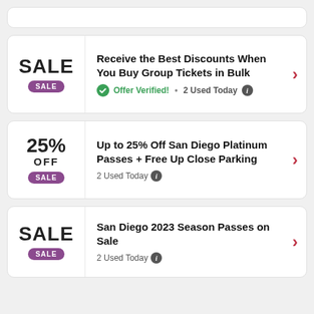[Figure (other): Partial coupon card visible at top of page]
Receive the Best Discounts When You Buy Group Tickets in Bulk
Offer Verified! • 2 Used Today
Up to 25% Off San Diego Platinum Passes + Free Up Close Parking
2 Used Today
San Diego 2023 Season Passes on Sale
2 Used Today